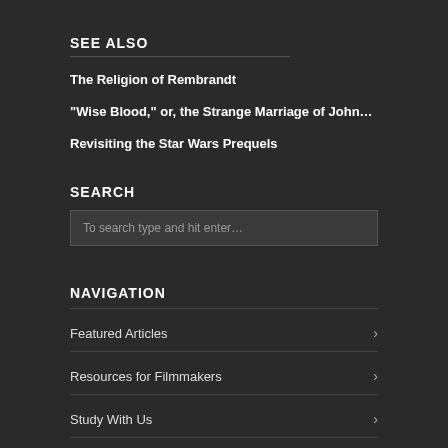SEE ALSO
The Religion of Rembrandt
“Wise Blood,” or, the Strange Marriage of John…
Revisiting the Star Wars Prequels
SEARCH
To search type and hit enter…
NAVIGATION
Featured Articles
Resources for Filmmakers
Study With Us